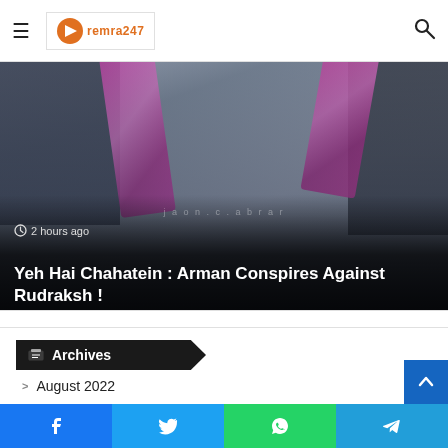remra247 logo and navigation
[Figure (photo): Hero image showing figures in dark clothing with magenta/pink ties against a dark curtain background. Overlay text shows article timestamp and title.]
Yeh Hai Chahatein : Arman Conspires Against Rudraksh !
2 hours ago
Archives
August 2022
July 2022
June 2022